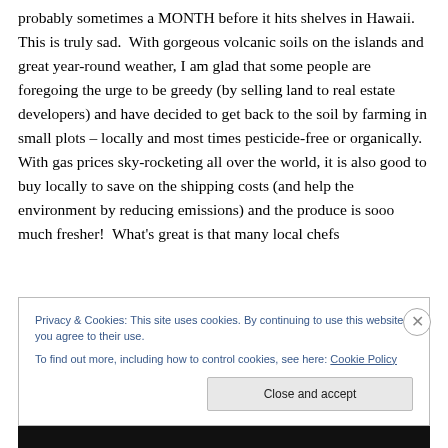probably sometimes a MONTH before it hits shelves in Hawaii.  This is truly sad.  With gorgeous volcanic soils on the islands and great year-round weather, I am glad that some people are foregoing the urge to be greedy (by selling land to real estate developers) and have decided to get back to the soil by farming in small plots – locally and most times pesticide-free or organically.  With gas prices sky-rocketing all over the world, it is also good to buy locally to save on the shipping costs (and help the environment by reducing emissions) and the produce is sooo much fresher!  What's great is that many local chefs
Privacy & Cookies: This site uses cookies. By continuing to use this website, you agree to their use.
To find out more, including how to control cookies, see here: Cookie Policy